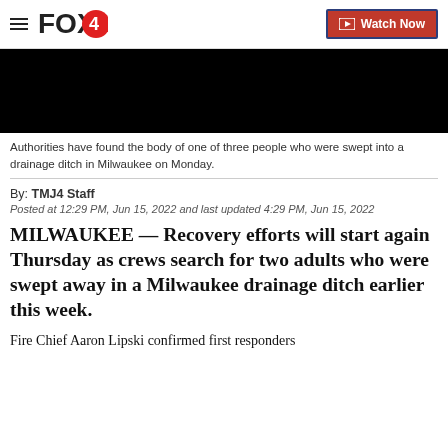FOX4 | Watch Now
[Figure (photo): Black video thumbnail placeholder]
Authorities have found the body of one of three people who were swept into a drainage ditch in Milwaukee on Monday.
By: TMJ4 Staff
Posted at 12:29 PM, Jun 15, 2022 and last updated 4:29 PM, Jun 15, 2022
MILWAUKEE — Recovery efforts will start again Thursday as crews search for two adults who were swept away in a Milwaukee drainage ditch earlier this week.
Fire Chief Aaron Lipski confirmed first responders